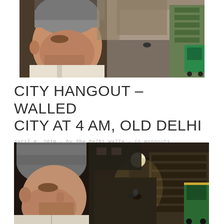[Figure (photo): Close-up of a middle-aged man with grey hair and stubble looking sideways, with a narrow alley in Old Delhi visible behind him showing parked auto-rickshaws and closed shops.]
CITY HANGOUT – WALLED CITY AT 4 AM, OLD DELHI
April 8, 2019 · by The Delhi Walla · in Hangouts
[Figure (photo): Night photograph of a narrow alley in the Walled City of Old Delhi, with a man's grey-haired head in profile in the foreground, a street light illuminating the lane, closed shop shutters on both sides, and a motorcycle and auto-rickshaw visible.]